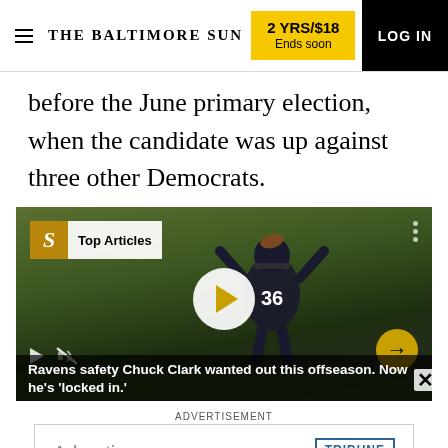THE BALTIMORE SUN | 2 YRS/$18 Ends soon | LOG IN
before the June primary election, when the candidate was up against three other Democrats.
[Figure (screenshot): Video player thumbnail showing a Ravens football player wearing jersey #36, with a 'Top Articles' badge overlay, a white play button in the center, bottom controls including play and mute icons, and a gold arrow next button. A caption overlay reads: Ravens safety Chuck Clark wanted out this offseason. Now he's 'locked in.']
Ravens safety Chuck Clark wanted out this offseason. Now he's 'locked in.'
ADVERTISEMENT
[Figure (logo): Advertisement banner with 'Advertise' text on the left and Tribune Publishing logo on the right]